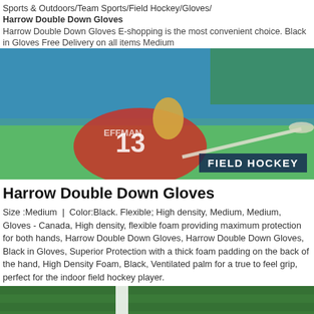Sports & Outdoors/Team Sports/Field Hockey/Gloves/
Harrow Double Down Gloves
Harrow Double Down Gloves E-shopping is the most convenient choice. Black in Gloves Free Delivery on all items Medium
[Figure (photo): Field hockey player in red uniform number 13 crouching with a hockey stick, overlaid with 'FIELD HOCKEY' label in bottom right corner]
Harrow Double Down Gloves
Size :Medium  |  Color:Black. Flexible; High density, Medium, Medium, Gloves - Canada, High density, flexible foam providing maximum protection for both hands, Harrow Double Down Gloves, Harrow Double Down Gloves, Black in Gloves, Superior Protection with a thick foam padding on the back of the hand, High Density Foam, Black, Ventilated palm for a true to feel grip, perfect for the indoor field hockey player.
[Figure (photo): Harrow Double Down field hockey gloves (black, white, and yellow) lying on green artificial turf next to a white field line]